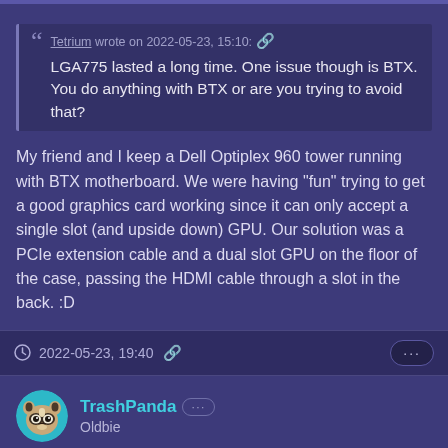Tetrium wrote on 2022-05-23, 15:10: 🔗 LGA775 lasted a long time. One issue though is BTX. You do anything with BTX or are you trying to avoid that?
My friend and I keep a Dell Optiplex 960 tower running with BTX motherboard. We were having "fun" trying to get a good graphics card working since it can only accept a single slot (and upside down) GPU. Our solution was a PCIe extension cable and a dual slot GPU on the floor of the case, passing the HDMI cable through a slot in the back. :D
2022-05-23, 19:40 🔗
TrashPanda ··· Oldbie
Tetrium wrote on 2022-05-23, 15:10: 🔗